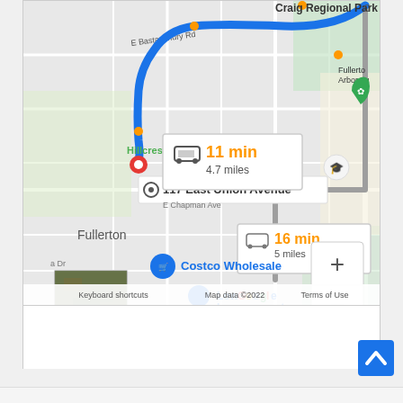[Figure (screenshot): Google Maps screenshot showing driving route from 117 East Union Avenue to Craig Regional Park in Fullerton, CA. Two route options shown: 11 min / 4.7 miles (blue route, selected) and 16 min / 5 miles (gray route). Map shows landmarks including Hillcrest Park, California State University Fullerton, Fullerton Arboretum, Costco Wholesale, and Lowe's Home Improvement. Map footer shows: Keyboard shortcuts, Map data ©2022, Terms of Use.]
[Figure (screenshot): Blue scroll-to-top button with upward chevron arrow in bottom right corner of page.]